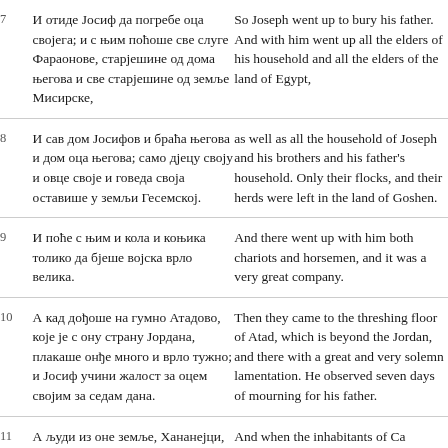| # | Serbian | English |
| --- | --- | --- |
| 7 | И отиде Јосиф да погребе оца својега; и с њим поћоше све слуге Фараонове, старјешине од дома његова и све старјешине од земље Мисирске, | So Joseph went … him went up all … elders of his ho… land of Egypt, |
| 8 | И сав дом Јосифов и браћа његова и дом оца његова; само дјецу своју и овце своје и говеда своја оставише у земљи Гесемској. | as well as all th… and his father's … their flocks, an… land of Goshen |
| 9 | И поће с њим и кола и коњика толико да бјеше војска врло велика. | And there went … horsemen, and … |
| 10 | А кад дођоше на гумно Атадово, које је с ону страну Јордана, плакаше онђе много и врло тужно; и Јосиф учини жалост за оцем својим за седам дана. | Then they came… which is beyon… there with a gre… lamentation. He… mourning for h… |
| 11 | А људи из оне земље, Хананејци, кад … | And when the i… Ca… |